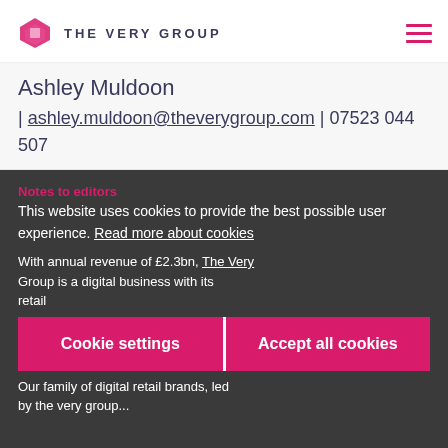THE VERY GROUP
Ashley Muldoon | ashley.muldoon@theverygroup.com | 07523 044 507
Notes to editors
This website uses cookies to provide the best possible user experience. Read more about cookies
With annual revenue of £2.3bn, The Very Group is a digital business with its...
Cookie settings   Accept all cookies
Our family of digital retail brands, led by...